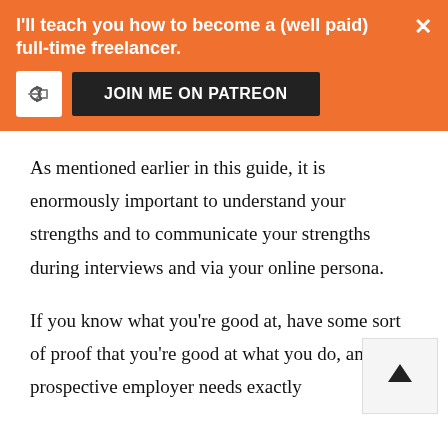I'll teach you how to become a (well paid) full-time freelancer.
[Figure (other): Orange banner with share icon, JOIN ME ON PATREON button, and close X button]
As mentioned earlier in this guide, it is enormously important to understand your strengths and to communicate your strengths during interviews and via your online persona.
If you know what you're good at, have some sort of proof that you're good at what you do, and a prospective employer needs exactly